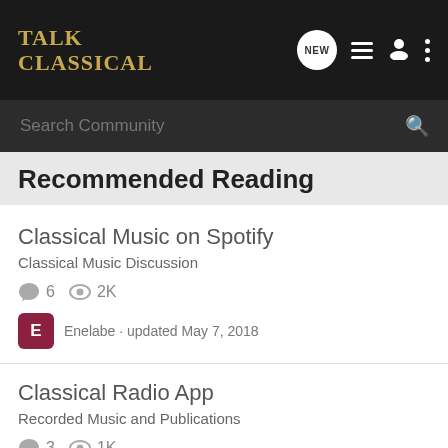TALK CLASSICAL
Search Community
Recommended Reading
Classical Music on Spotify · Classical Music Discussion · 6 comments · 2K views · Enelabe · updated May 7, 2018
Classical Radio App · Recorded Music and Publications · 3 comments · 1K views · Guest · updated Apr 11, 2016